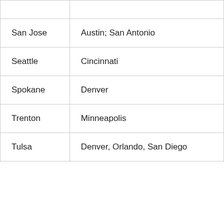| San Jose | Austin; San Antonio |
| Seattle | Cincinnati |
| Spokane | Denver |
| Trenton | Minneapolis |
| Tulsa | Denver, Orlando, San Diego |
For B-roll, photos and additional information
Reminder: Curbside pickup is for active loading and unloading of passengers only. If you need to wait for your party, please utilize the cell phone lot or short-term parking. Thank you for your cooperation!